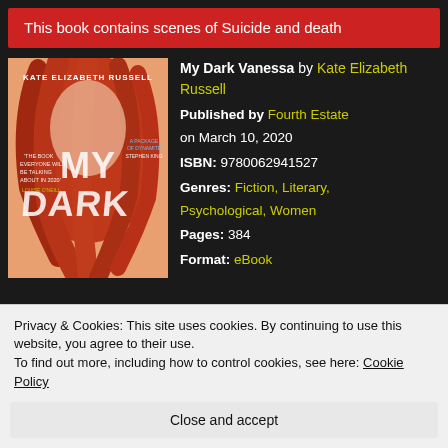This book contains scenes of Suicide and death
[Figure (illustration): Book cover of My Dark Vanessa by Kate Elizabeth Russell, showing a woman with long red flowing hair, text overlaid]
My Dark Vanessa by Kate Elizabeth Russell
Published by Fourth Estate on March 10, 2020
ISBN: 9780062941527
Genres: Fiction, Literary, Psychological, Women
Pages: 384
Format: eBook
Privacy & Cookies: This site uses cookies. By continuing to use this website, you agree to their use.
To find out more, including how to control cookies, see here: Cookie Policy
Close and accept